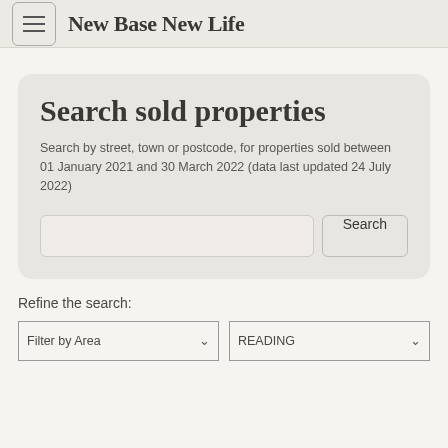New Base New Life
Search sold properties
Search by street, town or postcode, for properties sold between 01 January 2021 and 30 March 2022 (data last updated 24 July 2022)
Refine the search:
Filter by Area | READING